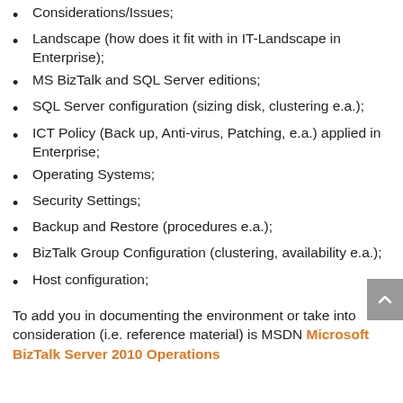Considerations/Issues;
Landscape (how does it fit with in IT-Landscape in Enterprise);
MS BizTalk and SQL Server editions;
SQL Server configuration (sizing disk, clustering e.a.);
ICT Policy (Back up, Anti-virus, Patching, e.a.) applied in Enterprise;
Operating Systems;
Security Settings;
Backup and Restore (procedures e.a.);
BizTalk Group Configuration (clustering, availability e.a.);
Host configuration;
To add you in documenting the environment or take into consideration (i.e. reference material) is MSDN Microsoft BizTalk Server 2010 Operations